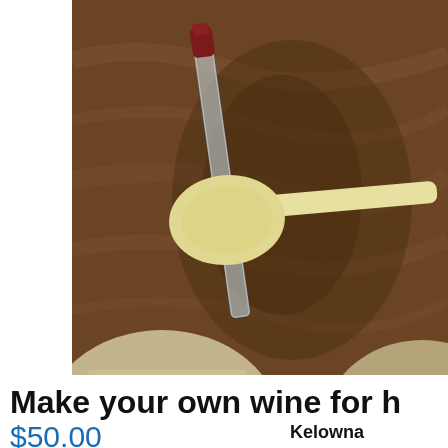[Figure (photo): Top-down view of wine-making equipment on a wooden surface: a yellow/cream long spoon, a clear glass hydrometer or wine thief with a dark red top, and partial views of cream/beige balloon-shaped containers at the bottom.]
Make your own wine for h
$50.00
Kelowna